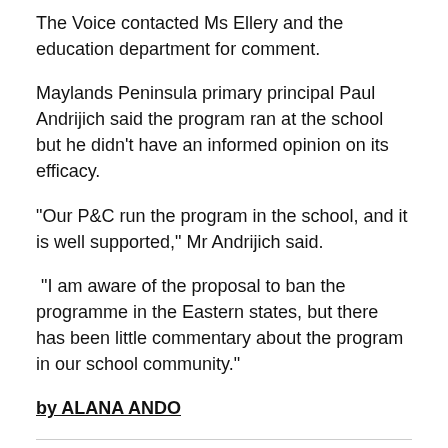The Voice contacted Ms Ellery and the education department for comment.
Maylands Peninsula primary principal Paul Andrijich said the program ran at the school but he didn’t have an informed opinion on its efficacy.
“Our P&C run the program in the school, and it is well supported,” Mr Andrijich said.
“I am aware of the proposal to ban the programme in the Eastern states, but there has been little commentary about the program in our school community.”
by ALANA ANDO
Share this: